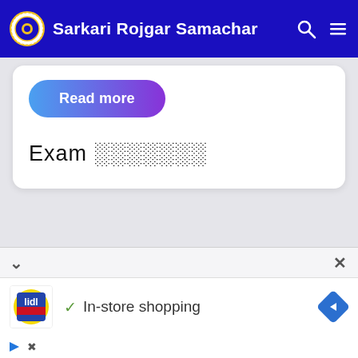Sarkari Rojgar Samachar
[Figure (screenshot): Read more button with blue-to-purple gradient and rounded pill shape]
Exam □□□□□□□
[Figure (screenshot): Lidl advertisement banner with In-store shopping text and navigation arrow icon]